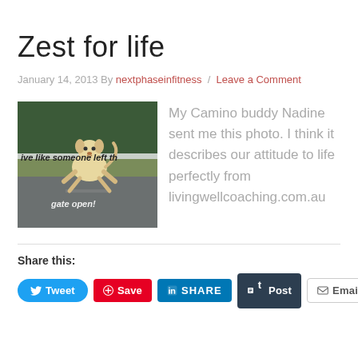Zest for life
January 14, 2013 By nextphaseinfitness / Leave a Comment
[Figure (photo): A fluffy dog running mid-air on a road with text overlay reading 'ive like someone left the gate open!']
My Camino buddy Nadine sent me this photo. I think it describes our attitude to life perfectly from livingwellcoaching.com.au
Share this:
Tweet  Save  SHARE  Post  Email